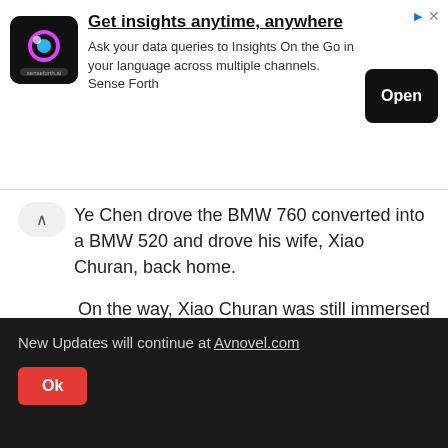[Figure (infographic): Advertisement banner for Senseforth.ai: logo on left, bold title 'Get insights anytime, anywhere', body text about data queries, and an 'Open' button on the right. Small ad icon and close X in top-right.]
Ye Chen drove the BMW 760 converted into a BMW 520 and drove his wife, Xiao Churan, back home.
On the way, Xiao Churan was still immersed in great happiness and couldn't help herself.
She couldn't help but ask Ye Chen, "Is this how you booked the Sky Garden?It's like there's never been an open house there, right?"
Ye Chen smiled slightly and said, "To be honest, an
New Updates will continue at Avnovel.com
Ok